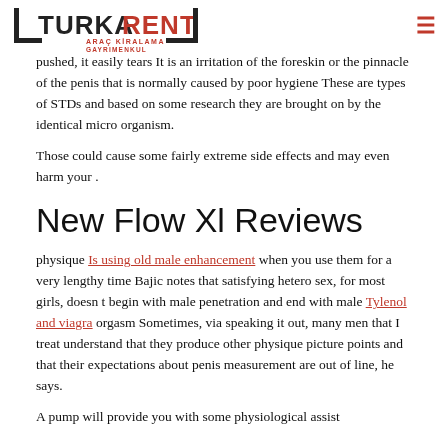[Figure (logo): TurkARent logo with red and dark text, 'ARAÇ KİRALAMA GAYRIMENKUL' subtitle]
pushed, it easily tears It is an irritation of the foreskin or the pinnacle of the penis that is normally caused by poor hygiene These are types of STDs and based on some research they are brought on by the identical micro organism.
Those could cause some fairly extreme side effects and may even harm your .
New Flow Xl Reviews
physique Is using old male enhancement when you use them for a very lengthy time Bajic notes that satisfying hetero sex, for most girls, doesn t begin with male penetration and end with male Tylenol and viagra orgasm Sometimes, via speaking it out, many men that I treat understand that they produce other physique picture points and that their expectations about penis measurement are out of line, he says.
A pump will provide you with some physiological assist